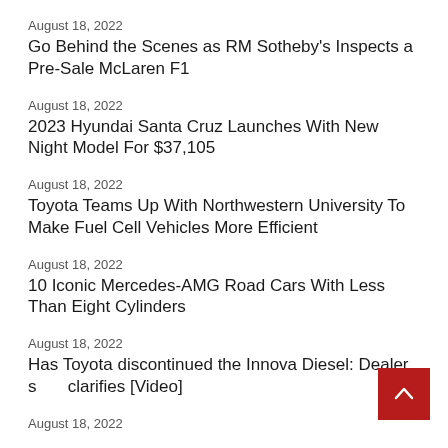August 18, 2022
Go Behind the Scenes as RM Sotheby's Inspects a Pre-Sale McLaren F1
August 18, 2022
2023 Hyundai Santa Cruz Launches With New Night Model For $37,105
August 18, 2022
Toyota Teams Up With Northwestern University To Make Fuel Cell Vehicles More Efficient
August 18, 2022
10 Iconic Mercedes-AMG Road Cars With Less Than Eight Cylinders
August 18, 2022
Has Toyota discontinued the Innova Diesel: Dealer says clarifies [Video]
August 18, 2022